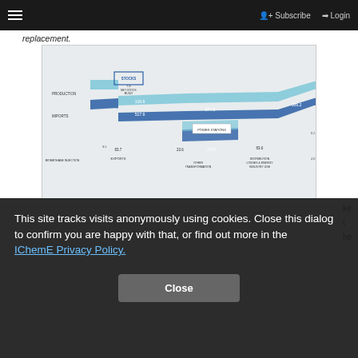≡   👤+ Subscribe  ➡ Login
replacement.
[Figure (flowchart): Sankey energy flow diagram showing gas production, stocks, imports, biomethane injection, exports, power stations, other transformation, distribution losses & energy industry use, and end uses including iron & steel, other industry, other final customers, domestic, manufacture of synthetic coke oven gas, and non-energy use. Key values shown: 7.6 net stock build, 119.9, 517.9, 577.8, 83.7, 23.6, 273.0, 3.5, 509.2, 4.0, 101.4, 141.7, 0.2, 83.6, 4.0.]
This site tracks visits anonymously using cookies. Close this dialog to confirm you are happy with that, or find out more in the IChemE Privacy Policy.
Close